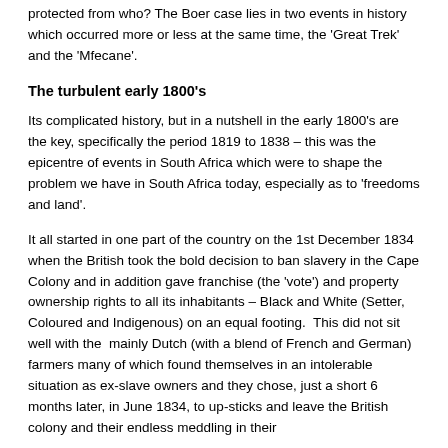protected from who? The Boer case lies in two events in history which occurred more or less at the same time, the 'Great Trek' and the 'Mfecane'.
The turbulent early 1800's
Its complicated history, but in a nutshell in the early 1800's are the key, specifically the period 1819 to 1838 – this was the epicentre of events in South Africa which were to shape the problem we have in South Africa today, especially as to 'freedoms and land'.
It all started in one part of the country on the 1st December 1834 when the British took the bold decision to ban slavery in the Cape Colony and in addition gave franchise (the 'vote') and property ownership rights to all its inhabitants – Black and White (Setter, Coloured and Indigenous) on an equal footing.  This did not sit well with the  mainly Dutch (with a blend of French and German) farmers many of which found themselves in an intolerable situation as ex-slave owners and they chose, just a short 6 months later, in June 1834, to up-sticks and leave the British colony and their endless meddling in their